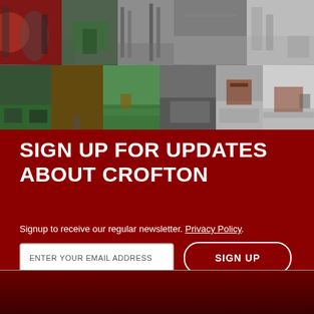[Figure (photo): A collage of photos showing museum visitors, industrial equipment, machinery, vintage cars, landscapes, and outdoor scenes related to Crofton]
SIGN UP FOR UPDATES ABOUT CROFTON
Signup to receive our regular newsletter. Privacy Policy.
ENTER YOUR EMAIL ADDRESS   SIGN UP